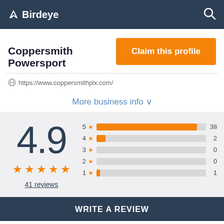Birdeye
Coppersmith Powersport
Claim this profile
https://www.coppersmithplx.com/
More business info ∨
[Figure (bar-chart): Rating distribution]
4.9
41 reviews
WRITE A REVIEW